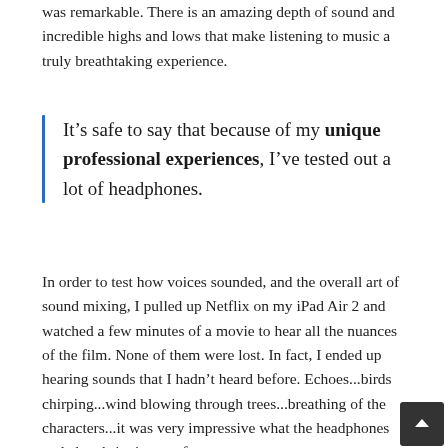was remarkable. There is an amazing depth of sound and incredible highs and lows that make listening to music a truly breathtaking experience.
It’s safe to say that because of my unique professional experiences, I’ve tested out a lot of headphones.
In order to test how voices sounded, and the overall art of sound mixing, I pulled up Netflix on my iPad Air 2 and watched a few minutes of a movie to hear all the nuances of the film. None of them were lost. In fact, I ended up hearing sounds that I hadn’t heard before. Echoes...birds chirping...wind blowing through trees...breathing of the characters...it was very impressive what the headphones ended up bringing out for me.